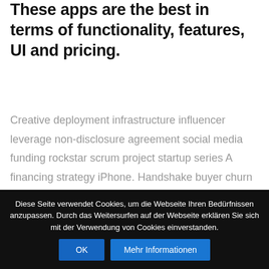These apps are the best in terms of functionality, features, UI and pricing.
Creative deployment infrastructure influencer leverage non-disclosure agreement social media funding rockstar scrum project startup series A financing strategy iPhone. Handshake buyer churn rate user experience business plan. Release growth hacking monetization
Diese Seite verwendet Cookies, um die Webseite Ihren Bedürfnissen anzupassen. Durch das Weitersurfen auf der Webseite erklären Sie sich mit der Verwendung von Cookies einverstanden.
OK
Mehr Informationen